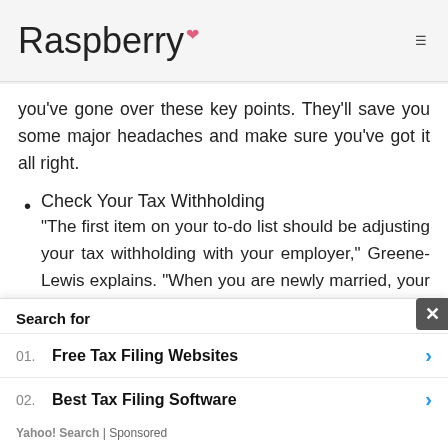Raspberry
you've gone over these key points. They'll save you some major headaches and make sure you've got it all right.
Check Your Tax Withholding
"The first item on your to-do list should be adjusting your tax withholding with your employer," Greene-Lewis explains. "When you are newly married, your income-tax liability will change depending on your spouse's income. It can be
Search for
01. Free Tax Filing Websites
02. Best Tax Filing Software
Yahoo! Search | Sponsored